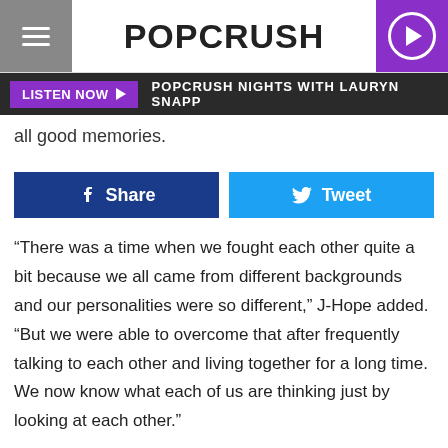POPCRUSH
LISTEN NOW ▶  POPCRUSH NIGHTS WITH LAURYN SNAPP
all good memories.
Share   Tweet
“There was a time when we fought each other quite a bit because we all came from different backgrounds and our personalities were so different,” J-Hope added. “But we were able to overcome that after frequently talking to each other and living together for a long time. We now know what each of us are thinking just by looking at each other.”
RM then opened up about maintaining a certain image for their fans and why it’s so important for him to do well. “It would be untruthful if I said there was no pressure,” he said